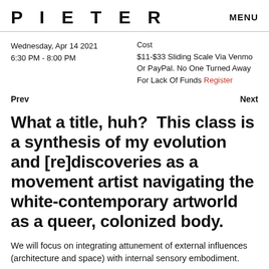PIETER   MENU
Wednesday, Apr 14 2021
6:30 PM - 8:00 PM
Cost
$11-$33 Sliding Scale Via Venmo Or PayPal. No One Turned Away For Lack Of Funds Register
Prev   Next
What a title, huh?  This class is a synthesis of my evolution and [re]discoveries as a movement artist navigating the white-contemporary artworld as a queer, colonized body.
We will focus on integrating attunement of external influences (architecture and space) with internal sensory embodiment.
Participants will be asked to privilege